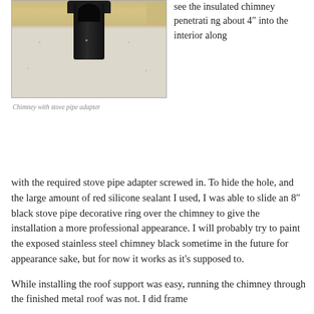[Figure (photo): Photograph of a ceiling interior showing a black stove pipe chimney penetration with a round black pipe/adapter going through the ceiling, with yellow insulation visible at the top edge.]
Chimney with stove pipe adapter
see the insulated chimney penetrating about 4″ into the interior along with the required stove pipe adapter screwed in.  To hide the hole, and the large amount of red silicone sealant I used, I was able to slide an 8″ black stove pipe decorative ring over the chimney to give the installation a more professional appearance.  I will probably try to paint the exposed stainless steel chimney black sometime in the future for appearance sake, but for now it works as it’s supposed to.
While installing the roof support was easy, running the chimney through the finished metal roof was not.  I did frame